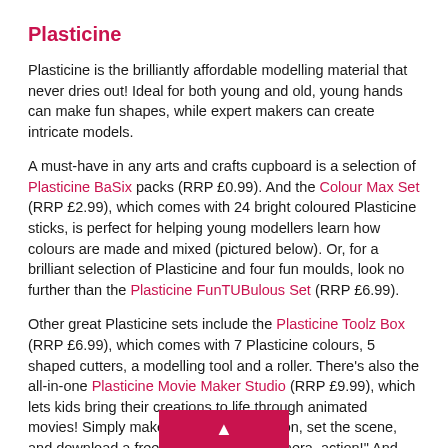Plasticine
Plasticine is the brilliantly affordable modelling material that never dries out! Ideal for both young and old, young hands can make fun shapes, while expert makers can create intricate models.
A must-have in any arts and crafts cupboard is a selection of Plasticine BaSix packs (RRP £0.99). And the Colour Max Set (RRP £2.99), which comes with 24 bright coloured Plasticine sticks, is perfect for helping young modellers learn how colours are made and mixed (pictured below). Or, for a brilliant selection of Plasticine and four fun moulds, look no further than the Plasticine FunTUBulous Set (RRP £6.99).
Other great Plasticine sets include the Plasticine Toolz Box (RRP £6.99), which comes with 7 Plasticine colours, 5 shaped cutters, a modelling tool and a roller. There's also the all-in-one Plasticine Movie Maker Studio (RRP £9.99), which lets kids bring their creations to life through animated movies! Simply make a Plasticine creation, set the scene, and download a free app for "Lights, camera, action!" And that's not all! There's lots of other brilliant Plasticine sets to discove